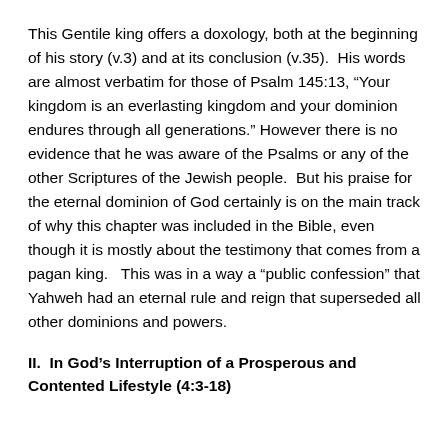This Gentile king offers a doxology, both at the beginning of his story (v.3) and at its conclusion (v.35).  His words are almost verbatim for those of Psalm 145:13, “Your kingdom is an everlasting kingdom and your dominion endures through all generations.” However there is no evidence that he was aware of the Psalms or any of the other Scriptures of the Jewish people.  But his praise for the eternal dominion of God certainly is on the main track of why this chapter was included in the Bible, even though it is mostly about the testimony that comes from a pagan king.   This was in a way a “public confession” that Yahweh had an eternal rule and reign that superseded all other dominions and powers.
II.  In God’s Interruption of a Prosperous and Contented Lifestyle (4:3-18)